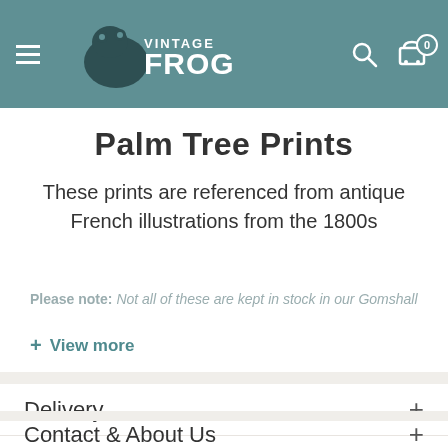Vintage Frog — navigation header with logo, search and cart icons
Palm Tree Prints
These prints are referenced from antique French illustrations from the 1800s
Please note: Not all of these are kept in stock in our Gomshall
+ View more
Delivery
Contact & About Us